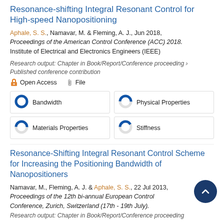Resonance-shifting Integral Resonant Control for High-speed Nanopositioning
Aphale, S. S., Namavar, M. & Fleming, A. J., Jun 2018, Proceedings of the American Control Conference (ACC) 2018. Institute of Electrical and Electronics Engineers (IEEE)
Research output: Chapter in Book/Report/Conference proceeding › Published conference contribution
Open Access   File
Bandwidth
Physical Properties
Materials Properties
Stiffness
Resonance-Shifting Integral Resonant Control Scheme for Increasing the Positioning Bandwidth of Nanopositioners
Namavar, M., Fleming, A. J. & Aphale, S. S., 22 Jul 2013, Proceedings of the 12th bi-annual European Control Conference, Zurich, Switzerland (17th - 19th July). Research output: Chapter in Book/Report/Conference proceeding › Published conference contribution